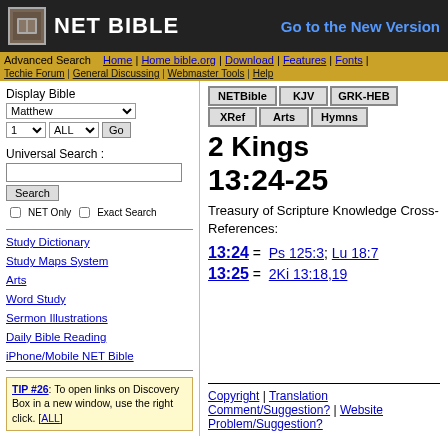NET BIBLE
Go to the New Version
Advanced Search | Home | Home bible.org | Download | Features | Fonts
Techie Forum | General Discussing | Webmaster Tools | Help
Display Bible
Matthew
1 ALL Go
Universal Search :
Search
NET Only   Exact Search
Study Dictionary
Study Maps System
Arts
Word Study
Sermon Illustrations
Daily Bible Reading
iPhone/Mobile NET Bible
TIP #26: To open links on Discovery Box in a new window, use the right click. [ALL]
created in 0.01 seconds
powered by bible.org
NETBible  KJV  GRK-HEB  XRef  Arts  Hymns
2 Kings
13:24-25
Treasury of Scripture Knowledge Cross-References:
13:24 = Ps 125:3; Lu 18:7
13:25 = 2Ki 13:18,19
Copyright | Translation Comment/Suggestion? | Website Problem/Suggestion?